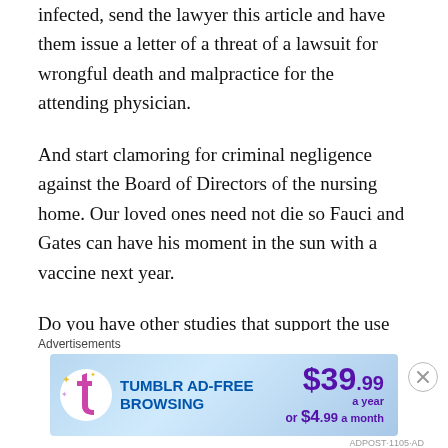infected, send the lawyer this article and have them issue a letter of a threat of a lawsuit for wrongful death and malpractice for the attending physician.
And start clamoring for criminal negligence against the Board of Directors of the nursing home. Our loved ones need not die so Fauci and Gates can have his moment in the sun with a vaccine next year.
Do you have other studies that support the use of these or other treatments to add? Drop them in the comments, with a link.
[Figure (other): Tumblr Ad-Free Browsing advertisement banner. $39.99 a year or $4.99 a month.]